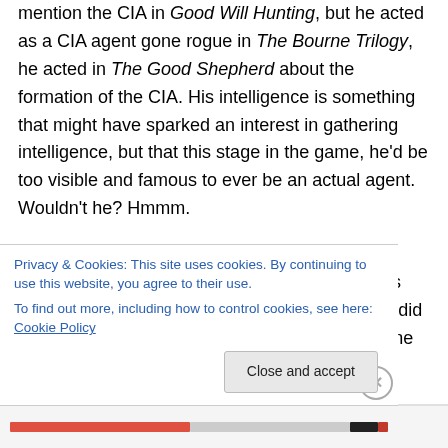mention the CIA in Good Will Hunting, but he acted as a CIA agent gone rogue in The Bourne Trilogy, he acted in The Good Shepherd about the formation of the CIA. His intelligence is something that might have sparked an interest in gathering intelligence, but that this stage in the game, he'd be too visible and famous to ever be an actual agent. Wouldn't he? Hmmm.
Despite being famous, Matt Damon has done a better job than his pal Ben Affleck at keeping his head down and keeping out of the limelight. He did have several high profile romances, including one with Minnie Driver and one
Privacy & Cookies: This site uses cookies. By continuing to use this website, you agree to their use.
To find out more, including how to control cookies, see here: Cookie Policy
Close and accept